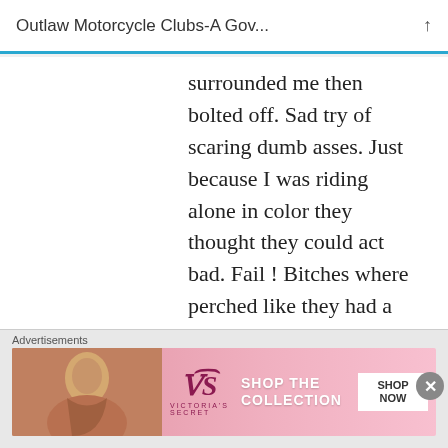Outlaw Motorcycle Clubs-A Gov...
surrounded me then bolted off. Sad try of scaring dumb asses. Just because I was riding alone in color they thought they could act bad. Fail ! Bitches where perched like they had a pickle up the wallet sock. Folsom California Pussies.
★ Like
Anonymous   FEBRUARY 11, 2016 AT 8:13 PM
[Figure (screenshot): Advertisement banner for Victoria's Secret showing a model, VS logo, SHOP THE COLLECTION text, and SHOP NOW button]